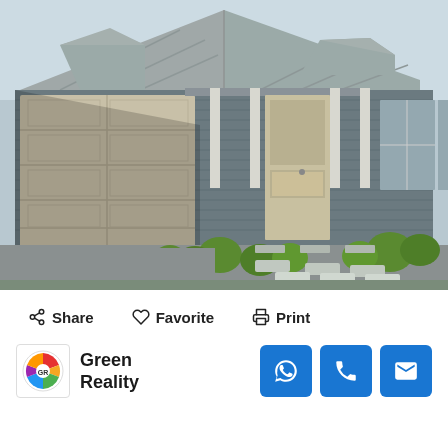[Figure (photo): Front exterior of a modern Australian single-storey house with grey cladding, a double garage with cream panel-lift door, a central front entry with a tall door and sidelights, large windows, a metal/Colorbond roof, and a landscaped front garden with rounded green shrubs and concrete paving stepping stones leading to the entrance.]
Share   Favorite   Print
Green Reality
[Figure (logo): Green Reality circular logo with colourful segments]